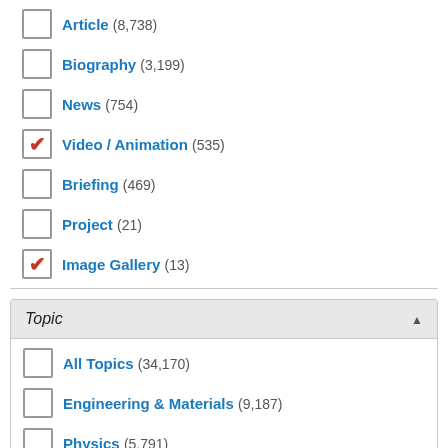Article (8,738)
Biography (3,199)
News (754)
Video / Animation (535) [checked]
Briefing (469)
Project (21)
Image Gallery (13) [checked]
Topic
All Topics (34,170)
Engineering & Materials (9,187)
Physics (5,791)
Biology & Biomedicine (5,050) [checked]
Earth Science (3,694) [checked]
Chemistry (2,848)
Zoology (2,718) [checked]
Health Sciences (2,371)
Astronomy & Space Science (2,019) [checked]
Botany (1,773) [checked]